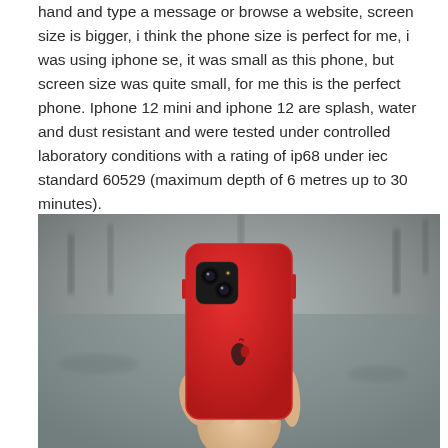hand and type a message or browse a website, screen size is bigger, i think the phone size is perfect for me, i was using iphone se, it was small as this phone, but screen size was quite small, for me this is the perfect phone. Iphone 12 mini and iphone 12 are splash, water and dust resistant and were tested under controlled laboratory conditions with a rating of ip68 under iec standard 60529 (maximum depth of 6 metres up to 30 minutes).
[Figure (photo): A hand holding a red iPhone 12 mini from behind, showing the dual camera system and Apple logo. Background is blurred outdoor scene with water or wet pavement and silhouettes of people.]